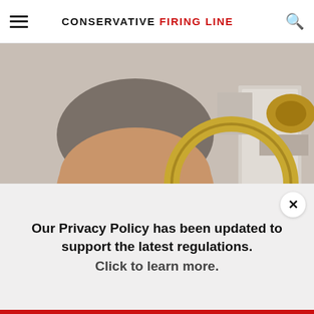CONSERVATIVE FIRING LINE
[Figure (photo): A bearded man with glasses holding a large brass circular hearing horn up to his ear, wearing a red polo shirt, photographed indoors.]
New Hearing Discovery is Leaving Doctors Speechless
Our Privacy Policy has been updated to support the latest regulations. Click to learn more.